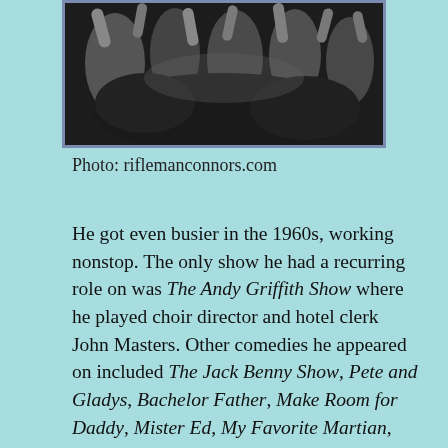[Figure (photo): Black and white photograph showing people, partially visible at top of page, framed with a blue-grey border]
Photo: riflemanconnors.com
He got even busier in the 1960s, working nonstop. The only show he had a recurring role on was The Andy Griffith Show where he played choir director and hotel clerk John Masters. Other comedies he appeared on included The Jack Benny Show, Pete and Gladys, Bachelor Father, Make Room for Daddy, Mister Ed, My Favorite Martian, The Addams Family, The Monkees, Petticoat Junction, and That Girl. He also took on roles in suspense shows including One Step Beyond, the Alfred Hitchcock Show, and the Twilight Zone. He also specialized in westerns, including Maverick, Stage Coach West, Have Gun Will Travel, The Rifleman, Bonanza, Gunsmoke, and